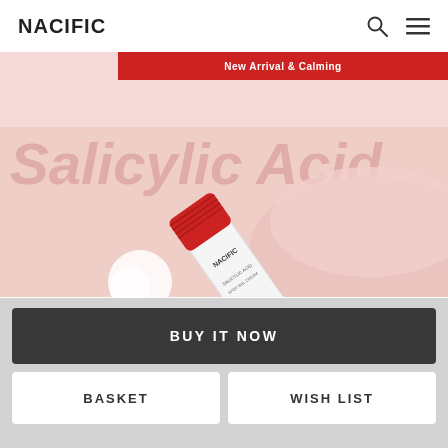NACIFIC
[Figure (screenshot): Nacific skincare product tube with red cap labeled 'NACIFIC', placed diagonally on a pink/beige background. A large italic watermark text 'Salicylic Acid' appears in faded pink behind the product.]
BUY IT NOW
BASKET
WISH LIST